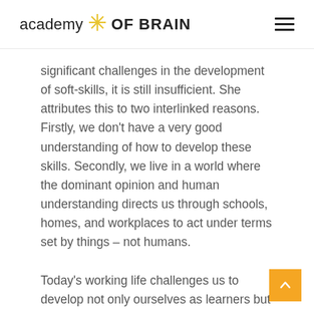academy OF BRAIN
significant challenges in the development of soft-skills, it is still insufficient. She attributes this to two interlinked reasons. Firstly, we don't have a very good understanding of how to develop these skills. Secondly, we live in a world where the dominant opinion and human understanding directs us through schools, homes, and workplaces to act under terms set by things – not humans.
Today's working life challenges us to develop not only ourselves as learners but